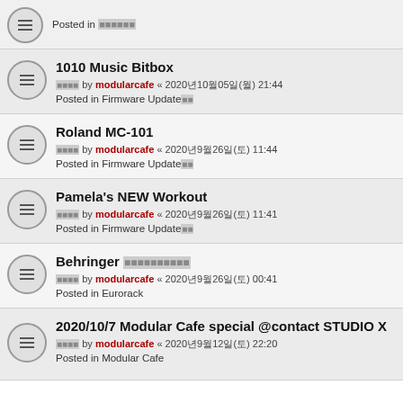Posted in 글자글자글자 (partial, top cropped)
1010 Music Bitbox
글자글자 by modularcafe « 2020년10월05일(월) 21:44
Posted in Firmware Update글자글자
Roland MC-101
글자글자 by modularcafe « 2020년9월26일(토) 11:44
Posted in Firmware Update글자글자
Pamela's NEW Workout
글자글자 by modularcafe « 2020년9월26일(토) 11:41
Posted in Firmware Update글자글자
Behringer 글자글자글자글자글자
글자글자 by modularcafe « 2020년9월26일(토) 00:41
Posted in Eurorack
2020/10/7 Modular Cafe special @contact STUDIO X
글자글자 by modularcafe « 2020년9월12일(토) 22:20
Posted in Modular Cafe